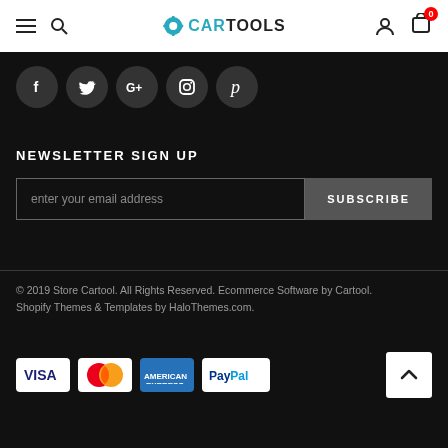CARTOOLS navigation bar with hamburger menu, search, logo, user icon, cart (0)
[Figure (infographic): Social media icon buttons: Facebook, Twitter, Google+, Instagram, Pinterest]
NEWSLETTER SIGN UP
enter your email address | SUBSCRIBE
© 2019 Store Cartool. All Rights Reserved. Ecommerce Software by Cartool. Shopify Themes & Templates by HaloThemes.com.
[Figure (infographic): Payment method logos: Visa, Mastercard, American Express, PayPal. Scroll-to-top button (chevron up).]